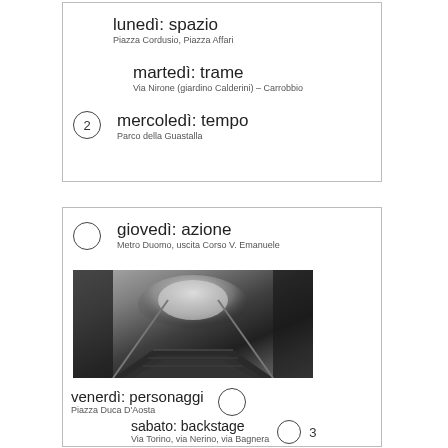lunedì: spazio
Piazza Cordusio, Piazza Affari
martedì: trame
Via Nirone (giardino Calderini) – Carrobbio
mercoledì: tempo
Parco della Guastalla
giovedì: azione
Metro Duomo, uscita Corso V. Emanuele
[Figure (photo): Black and white photo of a metro staircase going up toward light, viewed from below, with handrails on both sides]
venerdì: personaggi
Piazza Duca D'Aosta
sabato: backstage
Via Torino, via Nerino, via Bagnera